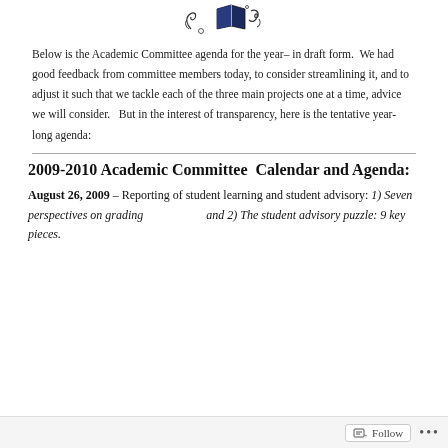[Figure (logo): Decorative logo with stylized book and flourishes]
Below is the Academic Committee agenda for the year– in draft form.  We had good feedback from committee members today, to consider streamlining it, and to adjust it such that we tackle each of the three main projects one at a time, advice we will consider.   But in the interest of transparency, here is the tentative year-long agenda:
2009-2010 Academic Committee  Calendar and Agenda:
August 26, 2009 – Reporting of student learning and student advisory: 1) Seven perspectives on grading                           and 2) The student advisory puzzle: 9 key pieces.
Follow  •••